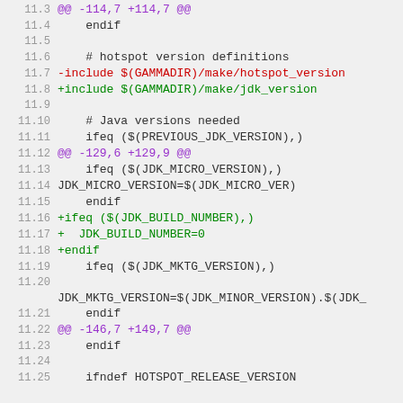[Figure (screenshot): Code diff screenshot showing lines 11.3 through 11.25 of a makefile diff with line numbers, purple @@ markers, red removed lines, green added lines, and normal context lines]